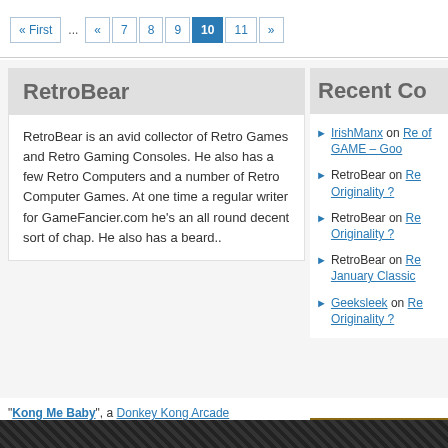« First ... « 7 8 9 10 11 »
RetroBear
RetroBear is an avid collector of Retro Games and Retro Gaming Consoles. He also has a few Retro Computers and a number of Retro Computer Games. At one time a regular writer for GameFancier.com he's an all round decent sort of chap. He also has a beard..
Recent Co
IrishManx on Re of GAME – Goo
RetroBear on Re Originality ?
RetroBear on Re Originality ?
RetroBear on Re January Classic
Geeksleek on Re Originality ?
"Kong Me Baby", a Donkey Kong Arcade
RSS FEED